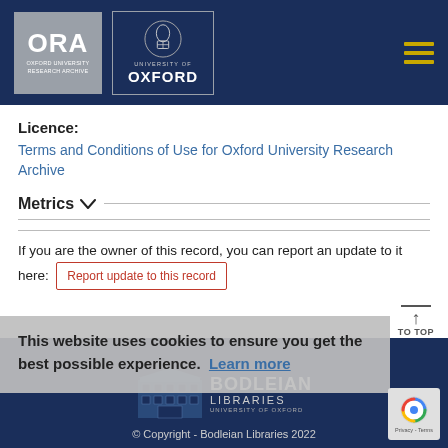ORA Oxford University Research Archive | University of Oxford
Licence:
Terms and Conditions of Use for Oxford University Research Archive
Metrics
If you are the owner of this record, you can report an update to it here:
Report update to this record
This website uses cookies to ensure you get the best possible experience. Learn more
© Copyright - Bodleian Libraries 2022